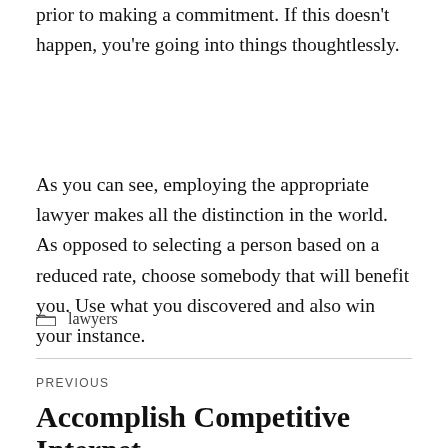prior to making a commitment. If this doesn't happen, you're going into things thoughtlessly.
As you can see, employing the appropriate lawyer makes all the distinction in the world. As opposed to selecting a person based on a reduced rate, choose somebody that will benefit you. Use what you discovered and also win your instance.
lawyers
PREVIOUS
Accomplish Competitive Internet